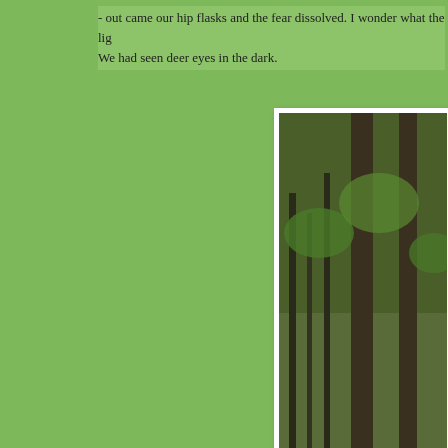- out came our hip flasks and the fear dissolved. I wonder what the lig... We had seen deer eyes in the dark.
[Figure (photo): A bicycle leaning against a tree in a forest with autumn leaves on the ground. Camping gear and bags are visible on the right side near the trees.]
[Figure (photo): A partially visible forest scene showing a person among trees, partially cropped at the bottom of the page.]